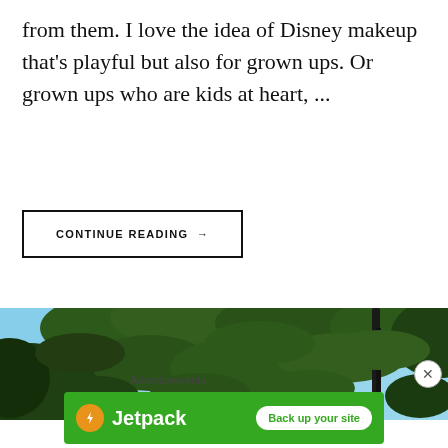from them. I love the idea of Disney makeup that's playful but also for grown ups. Or grown ups who are kids at heart, ...
CONTINUE READING →
[Figure (photo): Outdoor photo looking up through green tree foliage against a clear blue sky, dark branches silhouetted.]
Advertisements
[Figure (other): Jetpack advertisement banner with orange lightning bolt logo, 'Jetpack' text in white, and 'Back up your site' button on green background.]